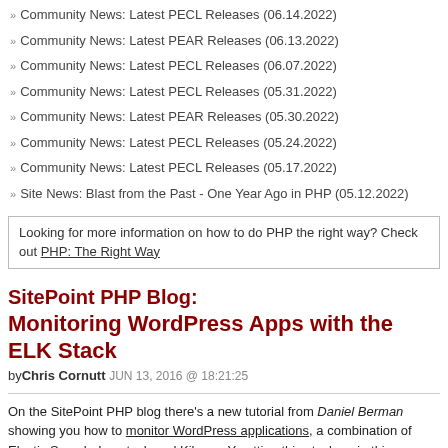Community News: Latest PECL Releases (06.14.2022)
Community News: Latest PEAR Releases (06.13.2022)
Community News: Latest PECL Releases (06.07.2022)
Community News: Latest PECL Releases (05.31.2022)
Community News: Latest PEAR Releases (05.30.2022)
Community News: Latest PECL Releases (05.24.2022)
Community News: Latest PECL Releases (05.17.2022)
Site News: Blast from the Past - One Year Ago in PHP (05.12.2022)
Looking for more information on how to do PHP the right way? Check out PHP: The Right Way
SitePoint PHP Blog: Monitoring WordPress Apps with the ELK Stack
by Chris Cornutt JUN 13, 2016 @ 18:21:25
On the SitePoint PHP blog there's a new tutorial from Daniel Berman showing you how to monitor WordPress applications, a combination of Elastic Search, Logstash and Kibana. You can find help setting this stack up in this previous tutorial.
When something does go wrong, one of the first things you're going to want to look at is log files. Not because you enjoy it — log files are not easy to decipher — but because they contain valuable information that can shed light on what exactly occurred.